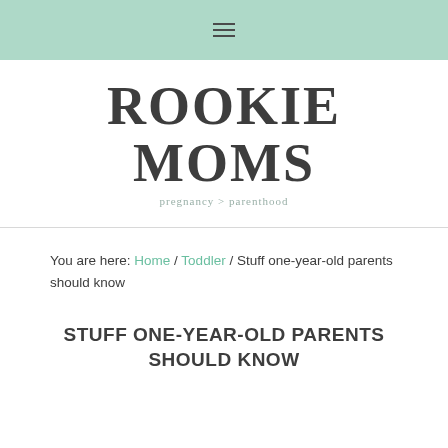☰
ROOKIE MOMS
pregnancy > parenthood
You are here: Home / Toddler / Stuff one-year-old parents should know
STUFF ONE-YEAR-OLD PARENTS SHOULD KNOW